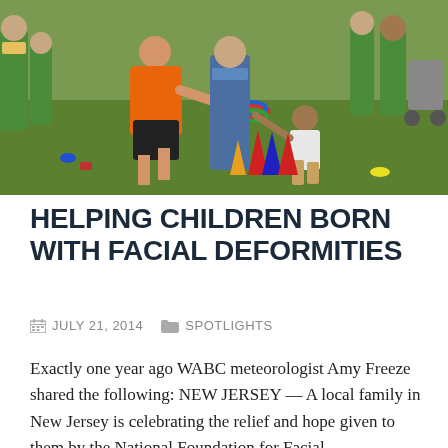[Figure (photo): Outdoor scene with adults and children playing ring toss game on grass. A woman in orange shirt and black shorts bends to hand a colored ring to a small child in white shirt. Others in green shirts stand in background near colorful plastic cones and equipment.]
HELPING CHILDREN BORN WITH FACIAL DEFORMITIES
JULY 21, 2014   SPOTLIGHTS
Exactly one year ago WABC meteorologist Amy Freeze shared the following: NEW JERSEY — A local family in New Jersey is celebrating the relief and hope given to them by the National Foundation for Facial Reconstruction. Defects that might shame a